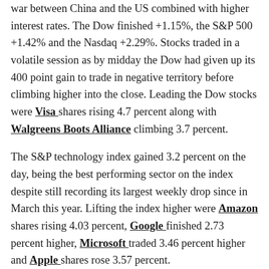war between China and the US combined with higher interest rates. The Dow finished +1.15%, the S&P 500 +1.42% and the Nasdaq +2.29%. Stocks traded in a volatile session as by midday the Dow had given up its 400 point gain to trade in negative territory before climbing higher into the close. Leading the Dow stocks were Visa shares rising 4.7 percent along with Walgreens Boots Alliance climbing 3.7 percent.
The S&P technology index gained 3.2 percent on the day, being the best performing sector on the index despite still recording its largest weekly drop since in March this year. Lifting the index higher were Amazon shares rising 4.03 percent, Google finished 2.73 percent higher, Microsoft traded 3.46 percent higher and Apple shares rose 3.57 percent.
Earnings seasons began with Wells Fargo, JP Morgan and Citigroup posting better than expected earnings. Wells Fargo shares rose 1.3 percent, Citigroup rose